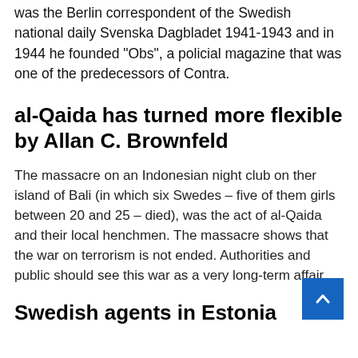was the Berlin correspondent of the Swedish national daily Svenska Dagbladet 1941-1943 and in 1944 he founded "Obs", a policial magazine that was one of the predecessors of Contra.
al-Qaida has turned more flexible
by Allan C. Brownfeld
The massacre on an Indonesian night club on ther island of Bali (in which six Swedes – five of them girls between 20 and 25 – died), was the act of al-Qaida and their local henchmen. The massacre shows that the war on terrorism is not ended. Authorities and public should see this war as a very long-term affair.
Swedish agents in Estonia